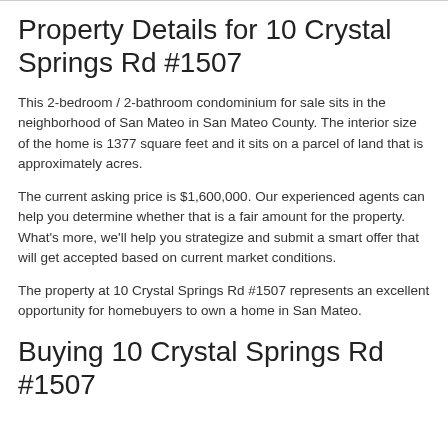Property Details for 10 Crystal Springs Rd #1507
This 2-bedroom / 2-bathroom condominium for sale sits in the neighborhood of San Mateo in San Mateo County. The interior size of the home is 1377 square feet and it sits on a parcel of land that is approximately acres.
The current asking price is $1,600,000. Our experienced agents can help you determine whether that is a fair amount for the property. What's more, we'll help you strategize and submit a smart offer that will get accepted based on current market conditions.
The property at 10 Crystal Springs Rd #1507 represents an excellent opportunity for homebuyers to own a home in San Mateo.
Buying 10 Crystal Springs Rd #1507